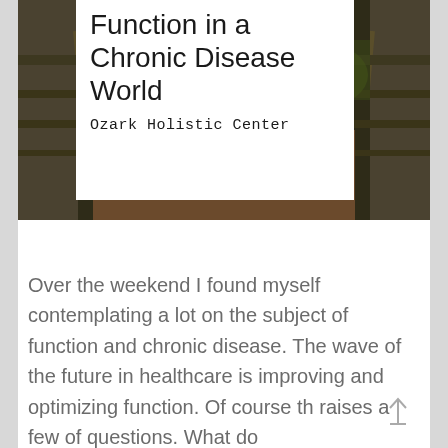[Figure (photo): A wooden walkway or bridge path leading forward with mossy wooden railings on both sides, photographed with heavy HDR processing. A white overlay box on the upper center-left contains the title text. The photo shows a rustic outdoor path with green and brown tones.]
Function in a Chronic Disease World
Ozark Holistic Center
Over the weekend I found myself contemplating a lot on the subject of function and chronic disease. The wave of the future in healthcare is improving and optimizing function. Of course th raises a few of questions. What do